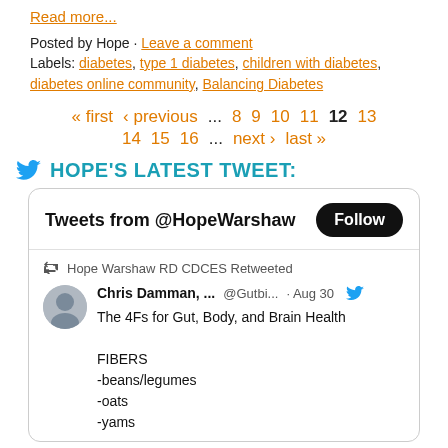Read more...
Posted by Hope · Leave a comment
Labels: diabetes, type 1 diabetes, children with diabetes, diabetes online community, Balancing Diabetes
« first  ‹ previous  ...  8  9  10  11  12  13  14  15  16  ...  next ›  last »
HOPE'S LATEST TWEET:
Tweets from @HopeWarshaw  Follow
Hope Warshaw RD CDCES Retweeted
Chris Damman, ...  @Gutbi...  · Aug 30
The 4Fs for Gut, Body, and Brain Health

FIBERS
-beans/legumes
-oats
-yams